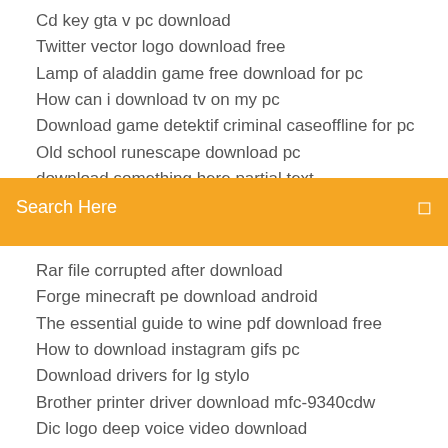Cd key gta v pc download
Twitter vector logo download free
Lamp of aladdin game free download for pc
How can i download tv on my pc
Download game detektif criminal caseoffline for pc
Old school runescape download pc
[Figure (screenshot): Search bar with orange/yellow background showing 'Search Here' placeholder text and a search icon on the right]
Rar file corrupted after download
Forge minecraft pe download android
The essential guide to wine pdf download free
How to download instagram gifs pc
Download drivers for lg stylo
Brother printer driver download mfc-9340cdw
Dic logo deep voice video download
Difference between torrent and direct download
Bushnell golf watch driver download
Download adult game life torrent